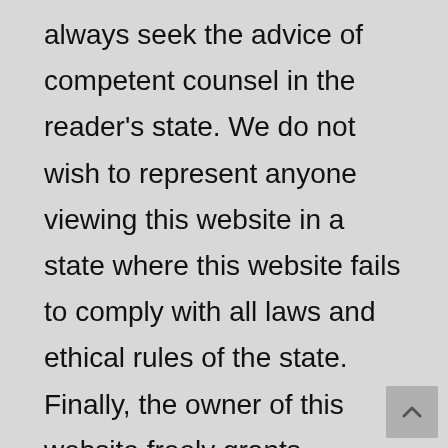always seek the advice of competent counsel in the reader's state. We do not wish to represent anyone viewing this website in a state where this website fails to comply with all laws and ethical rules of the state. Finally, the owner of this website freely grants permission to anyone wishing to link to this website without representation; the owner will gladly remove any link from this website upon request from the linked entity; this website is not sponsored or associated with any particular linked entity unless so stated in truth by that entity; and the existence of any particular link is simply intended to imply potential interest to the reader.
The hiring of an attorney is an important decision that should not be based solely upon advertisements. Before you decide, ask us to send you full written information